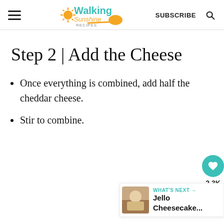Walking Sunshine Recipes | SUBSCRIBE
Step 2 | Add the Cheese
Once everything is combined, add half the cheddar cheese.
Stir to combine.
[Figure (other): Floating UI widget with heart/like button showing 2.3K and a share button]
[Figure (other): What's Next widget showing Jello Cheesecake...]